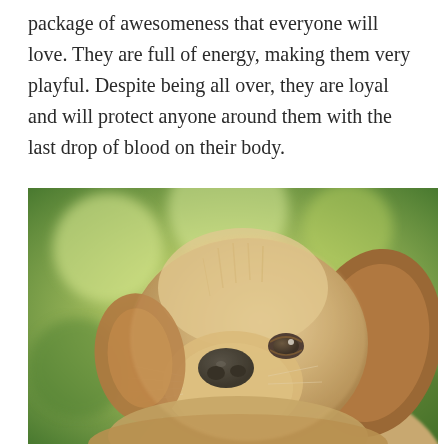package of awesomeness that everyone will love. They are full of energy, making them very playful. Despite being all over, they are loyal and will protect anyone around them with the last drop of blood on their body.
[Figure (photo): A close-up photo of a golden retriever puppy looking upward, with a blurred green background. The puppy has light golden/cream fur, a dark nose, and dark eyes.]